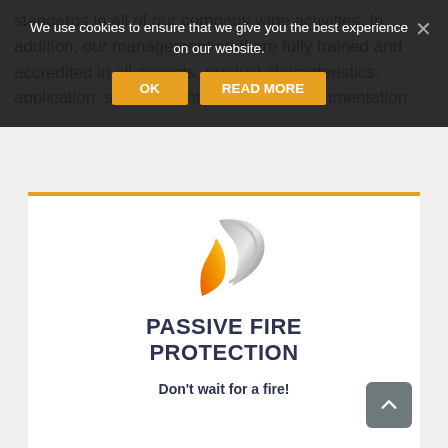standards in all of our company wide activities. In addition, our management staff are fully trained and accredited in all aspects, product characteristics, application, system identification and documentation
We use cookies to ensure that we give you the best experience on our website.
OK
READ MORE
[Figure (logo): Passive Fire Protection company logo: a stylized flame/wing shape in silver and orange gradient]
PASSIVE FIRE PROTECTION
Don't wait for a fire!